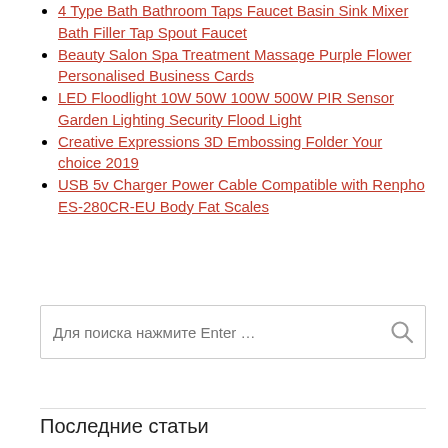4 Type Bath Bathroom Taps Faucet Basin Sink Mixer Bath Filler Tap Spout Faucet
Beauty Salon Spa Treatment Massage Purple Flower Personalised Business Cards
LED Floodlight 10W 50W 100W 500W PIR Sensor Garden Lighting Security Flood Light
Creative Expressions 3D Embossing Folder Your choice 2019
USB 5v Charger Power Cable Compatible with Renpho ES-280CR-EU Body Fat Scales
[Figure (other): Search box with placeholder text 'Для поиска нажмите Enter …' and a search icon on the right]
Последние статьи